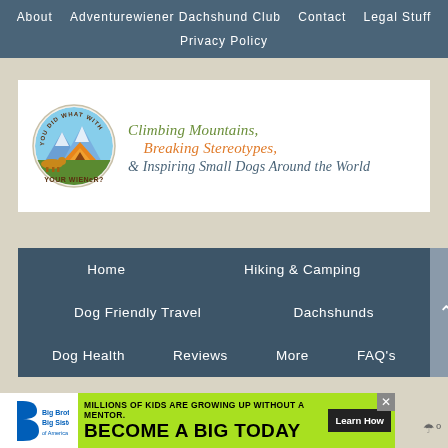About  Adventurewiener Dachshund Club  Contact  Legal Stuff  Privacy Policy
[Figure (logo): You Did What With Your Wiener? circular logo with a dachshund camping scene — orange tent, mountains, green hills, dog running]
Climbing Mountains, Breaking Stereotypes, & Inspiring Small Dogs Around the World
Home  Hiking & Camping  Dog Friendly Travel  Dachshunds  Dog Health  Reviews  More  FAQ's
[Figure (infographic): Big Brothers Big Sisters advertisement banner — 'Millions of kids are growing up without a mentor. Become a Big Today' with Learn How button]